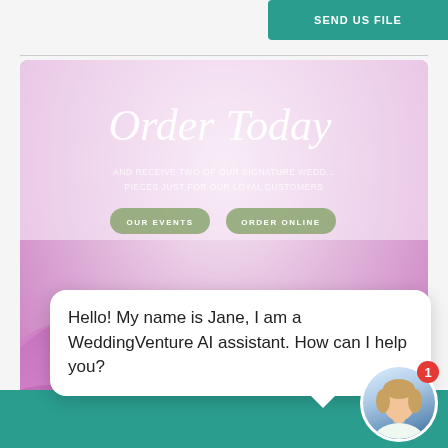[Figure (screenshot): Teal call-to-action button in top right corner of webpage]
[Figure (photo): Floral banner with pink/purple flowers and 'Order Today' script text overlay, OUR EVENTS and ORDER ONLINE buttons]
Hello! My name is Jane, I am a WeddingVenture AI assistant. How can I help you?